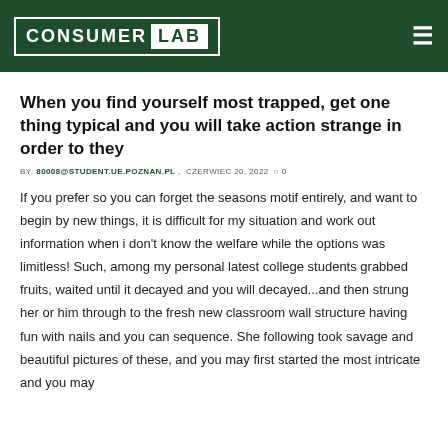Consumer Lab
When you find yourself most trapped, get one thing typical and you will take action strange in order to they
BY: 80008@STUDENT.UE.POZNAN.PL , CZERWIEC 20, 2022 0
If you prefer so you can forget the seasons motif entirely, and want to begin by new things, it is difficult for my situation and work out information when i don't know the welfare while the options was limitless! Such, among my personal latest college students grabbed fruits, waited until it decayed and you will decayed...and then strung her or him through to the fresh new classroom wall structure having fun with nails and you can sequence. She following took savage and beautiful pictures of these, and you may first started the most intricate and you may